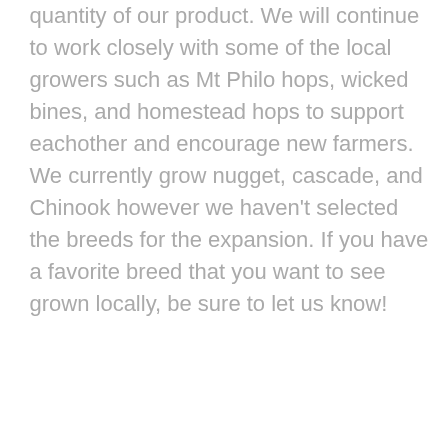quantity of our product.  We will continue to work closely with some of the local growers such as Mt Philo hops, wicked bines, and homestead hops to support eachother and encourage new farmers.  We currently grow nugget, cascade, and Chinook however we haven't selected the breeds for the expansion.  If you have a favorite breed that you want to see grown locally, be sure to let us know!
Share this:
[Figure (other): Twitter and Facebook share icon buttons (circular, blue)]
Hops Overview , Interviews , Hops in Vermont , Wilderness Hops ,
PREVIOUS POST
Best New England Beer Line-Up For Super Bowl